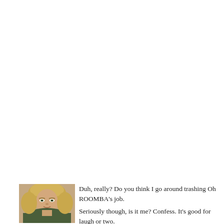Not death death. Just Disney death.
Inside the office closet are manuals that I paid actual money for, for all m various archaic Windows manuals. Mostly I just figure if I can't figure it o be part of my life. That's how I choose which microwave to purchase and
Don't knock it. With all the time I saved not reading manuals I have figure least two defunct airlines.
Plus YOUTUBE will tell me all the secrets of the universe. And kittens,
Those noise cancelling headphones don't have a cord anymore. That wa me the first time I used them on the airplane and stood up to go to the la were on my head and twisted that cord so hard it bent that metal bit that it clean off. Plus it whipped the cord so hard that it trimmed some hair off the aisle from me. Fortunately that was my Dear Hubby so he couldn't su "Are those the ones I just gave you for Christmas?"
[Figure (photo): A woman with blonde hair wearing a dark green sleeveless top, taking a selfie]
Duh, really? Do you think I go around trashing Oh ROOMBA's job.

Seriously though, is it me? Confess. It's good for laugh or two.